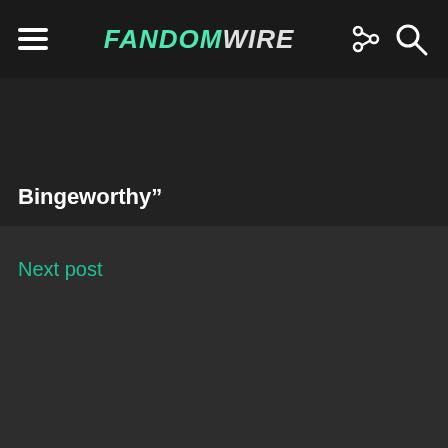FandomWire
Bingeworthy”
Next post